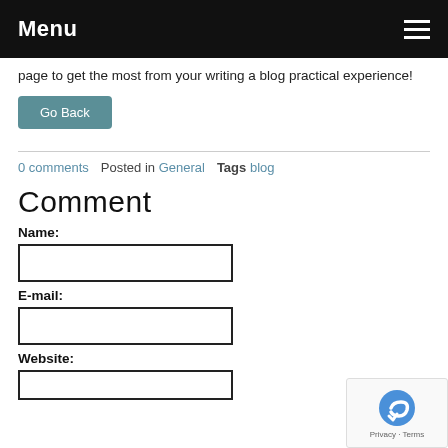Menu
page to get the most from your writing a blog practical experience!
Go Back
0 comments   Posted in General   Tags blog
Comment
Name:
E-mail:
Website: